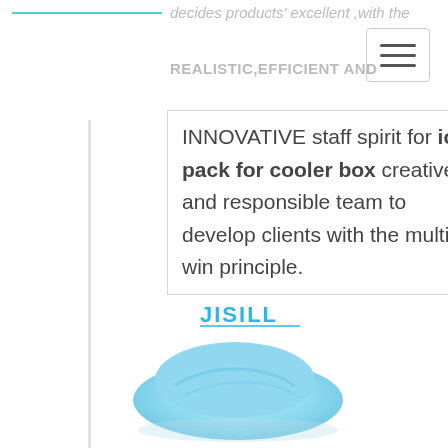decides products' excellent ,with the
REALISTIC,EFFICIENT AND
INNOVATIVE staff spirit for ice pack for cooler box creative and responsible team to develop clients with the multi-win principle.
[Figure (logo): JISILL brand logo text in blue]
[Figure (photo): Light blue ice pack for cooler box product photo]